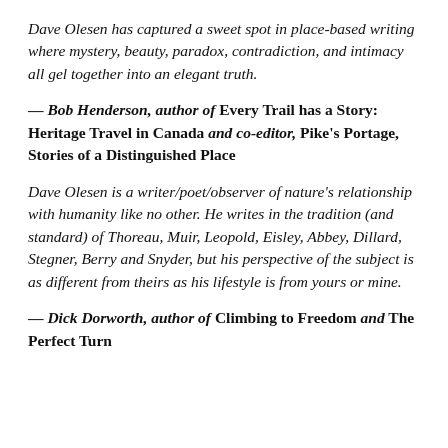Dave Olesen has captured a sweet spot in place-based writing where mystery, beauty, paradox, contradiction, and intimacy all gel together into an elegant truth.
— Bob Henderson, author of Every Trail has a Story: Heritage Travel in Canada and co-editor, Pike's Portage, Stories of a Distinguished Place
Dave Olesen is a writer/poet/observer of nature's relationship with humanity like no other. He writes in the tradition (and standard) of Thoreau, Muir, Leopold, Eisley, Abbey, Dillard, Stegner, Berry and Snyder, but his perspective of the subject is as different from theirs as his lifestyle is from yours or mine.
— Dick Dorworth, author of Climbing to Freedom and The Perfect Turn